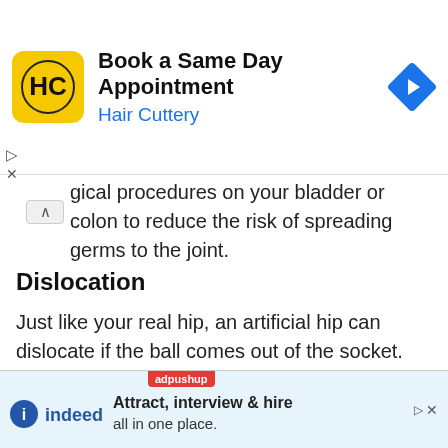[Figure (other): Hair Cuttery advertisement banner with logo, 'Book a Same Day Appointment' text and navigation arrow icon]
gical procedures on your bladder or colon to reduce the risk of spreading germs to the joint.
Dislocation
Just like your real hip, an artificial hip can dislocate if the ball comes out of the socket. There is a greater risk just after surgery, before the tissues have healed around the new joint, but there is always a risk. Once of the reasons that surgeons choose the anterior approach is that the risk of dislocation is much less than other app... dislo...
[Figure (other): Indeed advertisement banner: 'Attract, interview & hire all in one place.']